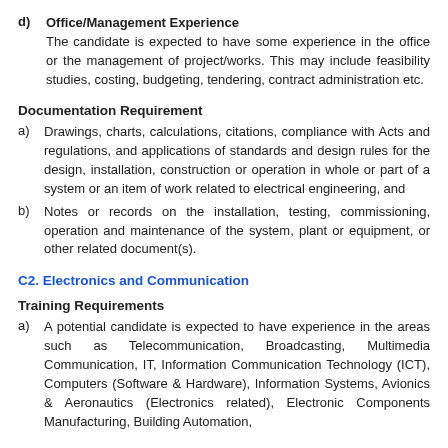d) Office/Management Experience
The candidate is expected to have some experience in the office or the management of project/works. This may include feasibility studies, costing, budgeting, tendering, contract administration etc.
Documentation Requirement
a) Drawings, charts, calculations, citations, compliance with Acts and regulations, and applications of standards and design rules for the design, installation, construction or operation in whole or part of a system or an item of work related to electrical engineering, and
b) Notes or records on the installation, testing, commissioning, operation and maintenance of the system, plant or equipment, or other related document(s).
C2. Electronics and Communication
Training Requirements
a) A potential candidate is expected to have experience in the areas such as Telecommunication, Broadcasting, Multimedia Communication, IT, Information Communication Technology (ICT), Computers (Software & Hardware), Information Systems, Avionics & Aeronautics (Electronics related), Electronic Components Manufacturing, Building Automation,...